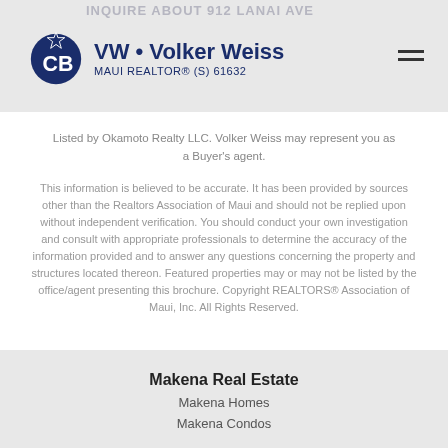INQUIRE ABOUT 912 LANAI AVE
VW • Volker Weiss
MAUI REALTOR® (S) 61632
Listed by Okamoto Realty LLC. Volker Weiss may represent you as a Buyer's agent.
This information is believed to be accurate. It has been provided by sources other than the Realtors Association of Maui and should not be replied upon without independent verification. You should conduct your own investigation and consult with appropriate professionals to determine the accuracy of the information provided and to answer any questions concerning the property and structures located thereon. Featured properties may or may not be listed by the office/agent presenting this brochure. Copyright REALTORS® Association of Maui, Inc. All Rights Reserved.
Makena Real Estate
Makena Homes
Makena Condos